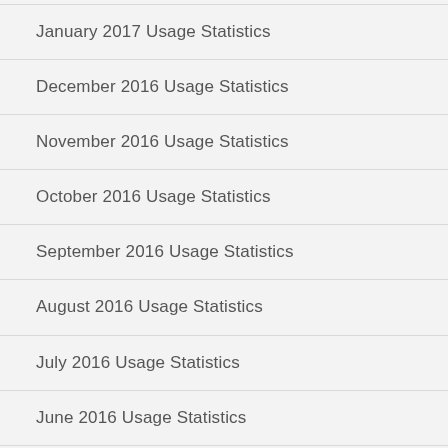January 2017 Usage Statistics
December 2016 Usage Statistics
November 2016 Usage Statistics
October 2016 Usage Statistics
September 2016 Usage Statistics
August 2016 Usage Statistics
July 2016 Usage Statistics
June 2016 Usage Statistics
May 2016 Usage Statistics